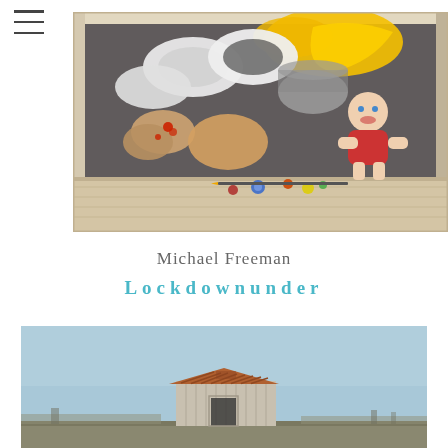[Figure (illustration): A top-down view of a wooden crate or box filled with various objects including toilet rolls, paint cans, stones, marbles, a toy doll figure, and colorful items on a wooden shelf surface.]
Michael Freeman
Lockdownunder
[Figure (photo): A rustic wooden shed or small building with a corrugated metal roof, set against a light blue sky with a flat landscape in the background.]